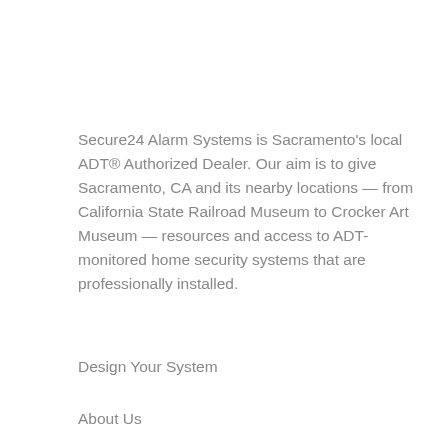Secure24 Alarm Systems is Sacramento's local ADT® Authorized Dealer. Our aim is to give Sacramento, CA and its nearby locations — from California State Railroad Museum to Crocker Art Museum — resources and access to ADT-monitored home security systems that are professionally installed.
Design Your System
About Us